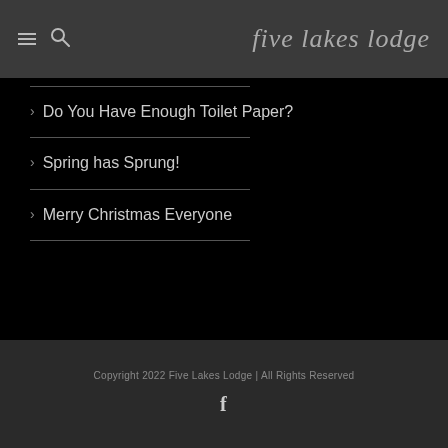five lakes lodge
Do You Have Enough Toilet Paper?
Spring has Sprung!
Merry Christmas Everyone
Copyright 2022 Five Lakes Lodge | All Rights Reserved